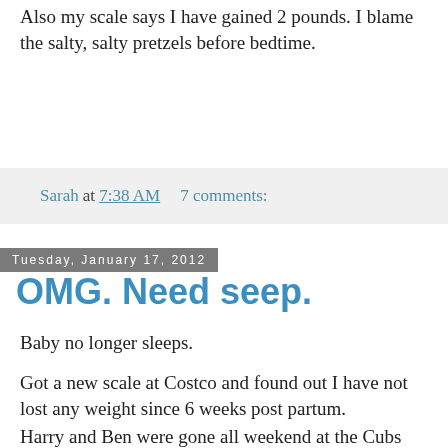Also my scale says I have gained 2 pounds.  I blame the salty, salty pretzels before bedtime.
Sarah at 7:38 AM    7 comments:
Tuesday, January 17, 2012
OMG. Need seep.
Baby no longer sleeps.
Got a new scale at Costco and found out I have not lost any weight since 6 weeks post partum.
Harry and Ben were gone all weekend at the Cubs Convention in Chicago.  Jack and I had what he called "the special day" where we watched Dolphin Tale, went to Toys R Us and let Jack pick out anything he wanted, and ate all Jack's favorite foods (like Whole Foods guacamole, skinny